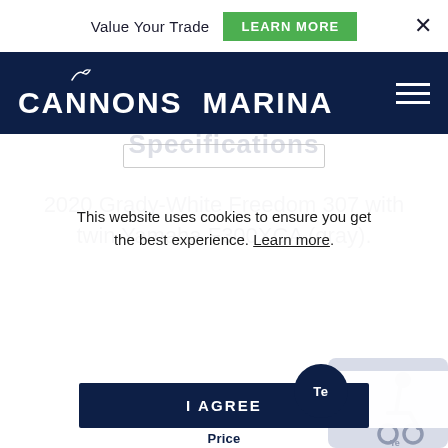Value Your Trade  LEARN MORE  ×
[Figure (logo): Cannons Marina logo with seagull motif and hamburger menu icon on dark navy background]
2020 Grady-White Freedom 307 with twin Yamaha F300XCA (gray).
Specifications
This website uses cookies to ensure you get the best experience. Learn more.
I AGREE
Price